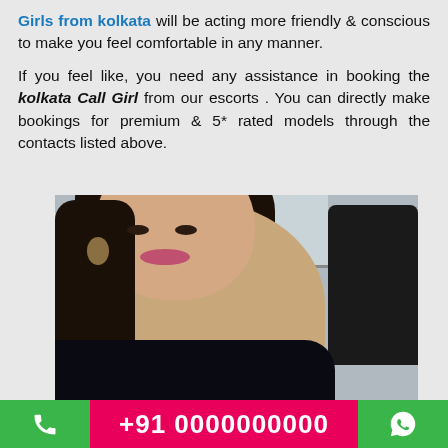Girls from kolkata will be acting more friendly & conscious to make you feel comfortable in any manner.

If you feel like, you need any assistance in booking the kolkata Call Girl from our escorts . You can directly make bookings for premium & 5* rated models through the contacts listed above.
[Figure (photo): Portrait photo of a young woman with long dark hair sitting in a car, looking at the camera with a slight smile, wearing a dark top and earrings.]
+91 0000000000